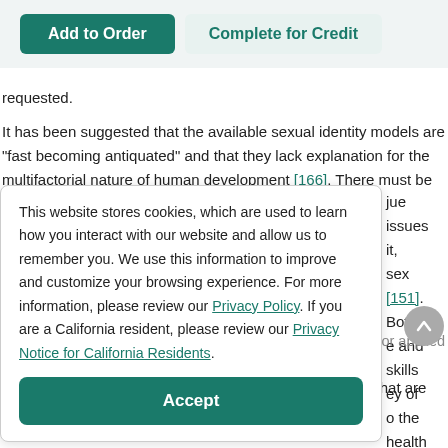[Figure (screenshot): Two buttons at the top: 'Add to Order' (teal/dark green filled) and 'Complete for Credit' (light teal/grey filled)]
requested.
It has been suggested that the available sexual identity models are "fast becoming antiquated" and that they lack explanation for the multifactorial nature of human development [166]. There must be continued effort toward identifying
jue issues
This website stores cookies, which are used to learn how you interact with our website and allow us to remember you. We use this information to improve and customize your browsing experience. For more information, please review our Privacy Policy. If you are a California resident, please review our Privacy Notice for California Residents.
it, sex
[151]. Both
e and skills
ey of
o the health
Accept
n of School
research
Psychologists have advocated funding and support efforts for applied research and scientific evaluations of interventions and programs that are designed to